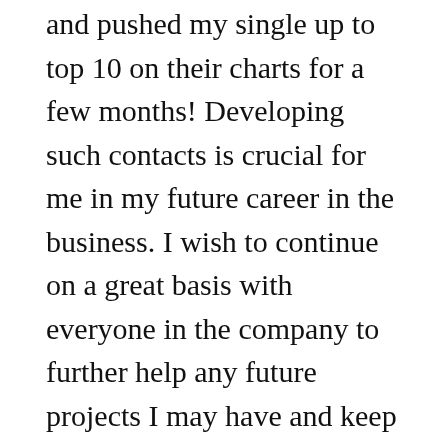and pushed my single up to top 10 on their charts for a few months! Developing such contacts is crucial for me in my future career in the business. I wish to continue on a great basis with everyone in the company to further help any future projects I may have and keep the great friendships I have made.
READ MORE
Cookies Policy
We use cookies to improve your experience on our sites. By continuing to use our site, you agree to our use of cookies.
Florenza Campos: Wrapping Up, Part I
Ok
JOE MAY  31, 2012